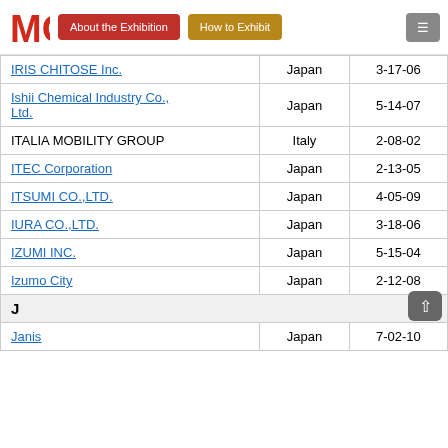MCR | About the Exhibition | How to Exhibit
| Company | Country | Booth |
| --- | --- | --- |
| IRIS CHITOSE Inc. | Japan | 3-17-06 |
| Ishii Chemical Industry Co., Ltd. | Japan | 5-14-07 |
| ITALIA MOBILITY GROUP | Italy | 2-08-02 |
| ITEC Corporation | Japan | 2-13-05 |
| ITSUMI CO.,LTD. | Japan | 4-05-09 |
| IURA CO.,LTD. | Japan | 3-18-06 |
| IZUMI INC. | Japan | 5-15-04 |
| Izumo City | Japan | 2-12-08 |
| J |  |  |
| Janis | Japan | 7-02-10 |